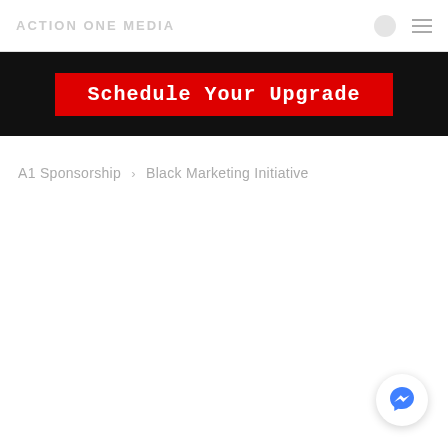ACTION ONE MEDIA
Schedule Your Upgrade
A1 Sponsorship > Black Marketing Initiative
[Figure (logo): Facebook Messenger chat bubble icon in blue, circular white background with drop shadow]